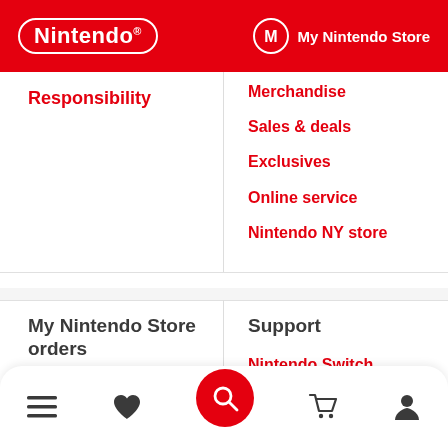Nintendo | My Nintendo Store
Responsibility
Merchandise
Sales & deals
Exclusives
Online service
Nintendo NY store
My Nintendo Store orders
Support
Order details
Shipping info
Nintendo Switch
Nintendo Account
Other systems
recycling